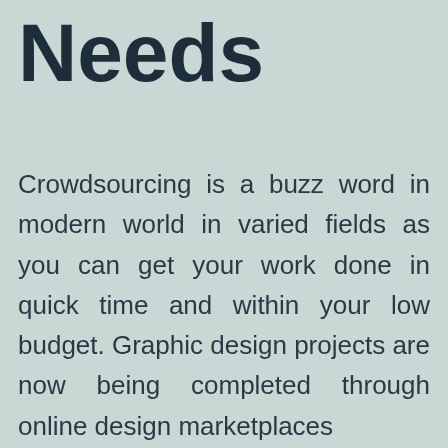Needs
Crowdsourcing is a buzz word in modern world in varied fields as you can get your work done in quick time and within your low budget. Graphic design projects are now being completed through online design marketplaces